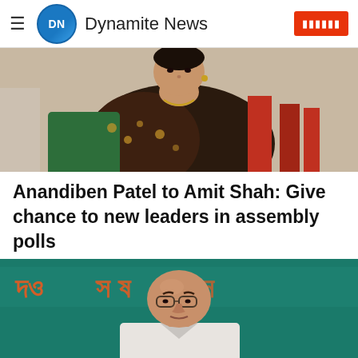Dynamite News
[Figure (photo): Photo of Anandiben Patel, a woman in colorful saree]
Anandiben Patel to Amit Shah: Give chance to new leaders in assembly polls
[Figure (photo): Photo of Amit Shah at a Bengali-language event, sitting in front of a teal banner with Bengali script]